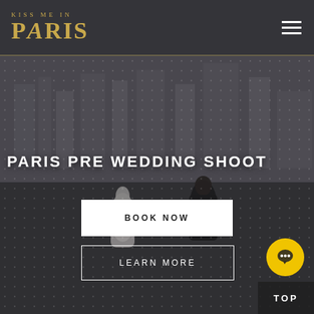[Figure (screenshot): Website screenshot of 'Kiss Me In Paris' pre-wedding photography service. Dark overlay navigation bar at top with gold PARIS logo and hamburger menu icon. Background photo shows a couple (woman in white dress, man in black tuxedo) in a Paris cityscape with dotted/bokeh overlay. Large white uppercase text reads 'PARIS PRE WEDDING SHOOT'. Two call-to-action buttons: 'BOOK NOW' (white filled) and 'LEARN MORE' (white outlined). Yellow circular chat button bottom right. Dark 'TOP' button at bottom right corner.]
KISS ME IN PARIS
PARIS PRE WEDDING SHOOT
BOOK NOW
LEARN MORE
TOP